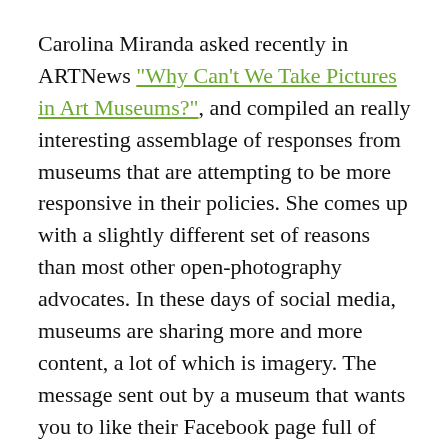Carolina Miranda asked recently in ARTNews "Why Can't We Take Pictures in Art Museums?", and compiled an really interesting assemblage of responses from museums that are attempting to be more responsive in their policies. She comes up with a slightly different set of reasons than most other open-photography advocates. In these days of social media, museums are sharing more and more content, a lot of which is imagery. The message sent out by a museum that wants you to like their Facebook page full of images, but doesn't want you taking the same kinds of pictures, is confusing, to say the least to visitors. Enforcing no photography policies is taking up more and more time of gallery staff, and...